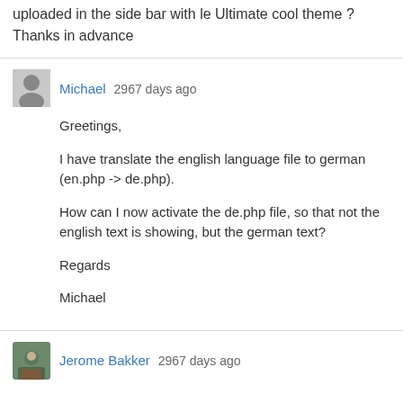uploaded in the side bar with le Ultimate cool theme ? Thanks in advance
Michael 2967 days ago
Greetings,

I have translate the english language file to german (en.php -> de.php).

How can I now activate the de.php file, so that not the english text is showing, but the german text?

Regards

    Michael
Jerome Bakker 2967 days ago